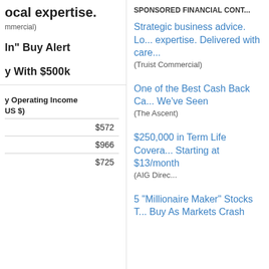ocal expertise.
(mmercial)
ln" Buy Alert
y With $500k
y Operating Income
US $)
| $572 |
| $966 |
| $725 |
SPONSORED FINANCIAL CONT...
Strategic business advice. Lo... expertise. Delivered with care...
(Truist Commercial)
One of the Best Cash Back Ca... We've Seen (The Ascent)
$250,000 in Term Life Covera... Starting at $13/month (AIG Direc...
5 "Millionaire Maker" Stocks T... Buy As Markets Crash